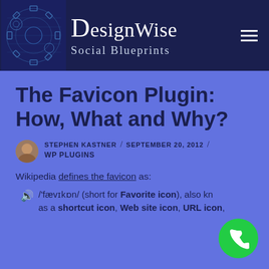[Figure (logo): DesignWise Social Blueprints site header with gear/blueprint logo, site name 'DesignWise Social Blueprints', and hamburger menu icon on dark navy background]
The Favicon Plugin: How, What and Why?
STEPHEN KASTNER / SEPTEMBER 20, 2012 / WP PLUGINS
Wikipedia defines the favicon as:
/'fævɪkɒn/ (short for Favorite icon), also known as a shortcut icon, Web site icon, URL icon,